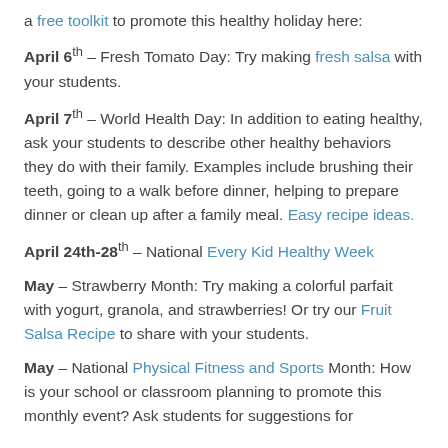a free toolkit to promote this healthy holiday here:
April 6th – Fresh Tomato Day: Try making fresh salsa with your students.
April 7th – World Health Day: In addition to eating healthy, ask your students to describe other healthy behaviors they do with their family. Examples include brushing their teeth, going to a walk before dinner, helping to prepare dinner or clean up after a family meal. Easy recipe ideas.
April 24th-28th – National Every Kid Healthy Week
May – Strawberry Month: Try making a colorful parfait with yogurt, granola, and strawberries! Or try our Fruit Salsa Recipe to share with your students.
May – National Physical Fitness and Sports Month: How is your school or classroom planning to promote this monthly event? Ask students for suggestions for